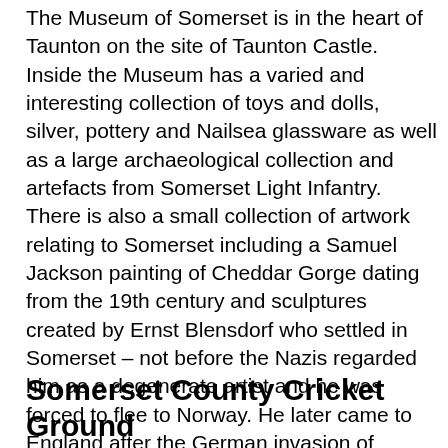The Museum of Somerset is in the heart of Taunton on the site of Taunton Castle. Inside the Museum has a varied and interesting collection of toys and dolls, silver, pottery and Nailsea glassware as well as a large archaeological collection and artefacts from Somerset Light Infantry. There is also a small collection of artwork relating to Somerset including a Samuel Jackson painting of Cheddar Gorge dating from the 19th century and sculptures created by Ernst Blensdorf who settled in Somerset – not before the Nazis regarded him as a degenerate artist and he was forced to flee to Norway. He later came to England after the German invasion of Norway. Geological exhibits and fossils include examples of "sea dragons" discovered in 1992 at Kilve. The Somerset County Museums Service holds a nationally important collection of Ice Age fossil mammal bones originating from the western Mendip Hills.
Somerset County Cricket Ground